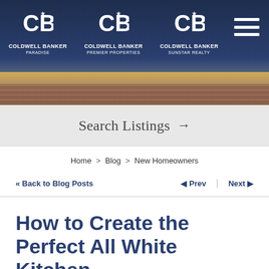[Figure (screenshot): Coldwell Banker website header with three logos: Coldwell Banker Paradise, Coldwell Banker Premier Properties, Coldwell Banker Sunstar Realty, on a dark navy background with a sunset/ocean image below and a hamburger menu icon on the right.]
Search Listings →
Home > Blog > New Homeowners
« Back to Blog Posts
◄ Prev   Next ►
How to Create the Perfect All White Kitchen